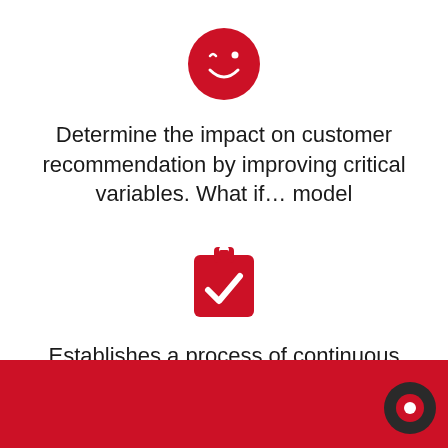[Figure (illustration): Red circle with a white winking smiley face icon]
Determine the impact on customer recommendation by improving critical variables. What if… model
[Figure (illustration): Red clipboard/checklist icon with a white checkmark]
Establishes a process of continuous improvement, based on the definition of KPIs of the service and sale process.